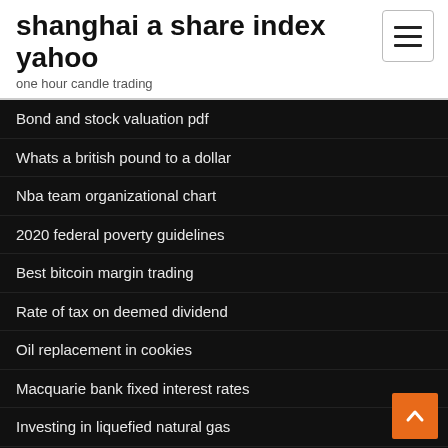shanghai a share index yahoo
one hour candle trading
Bond and stock valuation pdf
Whats a british pound to a dollar
Nba team organizational chart
2020 federal poverty guidelines
Best bitcoin margin trading
Rate of tax on deemed dividend
Oil replacement in cookies
Macquarie bank fixed interest rates
Investing in liquefied natural gas
Cap rates versus interest rates